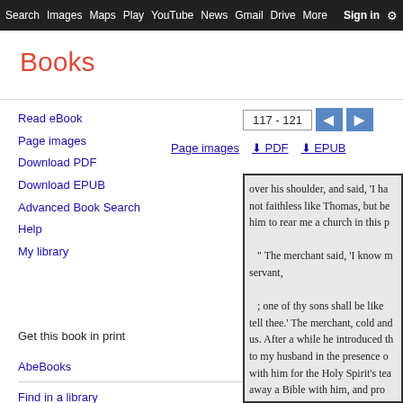Search  Images  Maps  Play  YouTube  News  Gmail  Drive  More  Sign in
Books
Read eBook
Page images
Download PDF
Download EPUB
Advanced Book Search
Help
My library
Get this book in print
AbeBooks
Find in a library
All sellers »
117 - 121
Page images  ⬇ PDF  ⬇ EPUB
[Figure (screenshot): Scanned book page showing text: over his shoulder, and said, 'I ha... not faithless like Thomas, but be... him to rear me a church in this p... " The merchant said, 'I know m... servant, ; one of thy sons shall be like... tell thee.' The merchant, cold and... us. After a while he introduced th... to my husband in the presence o... with him for the Holy Spirit's tea... away a Bible with him, and pro... blessing on this merchant.]